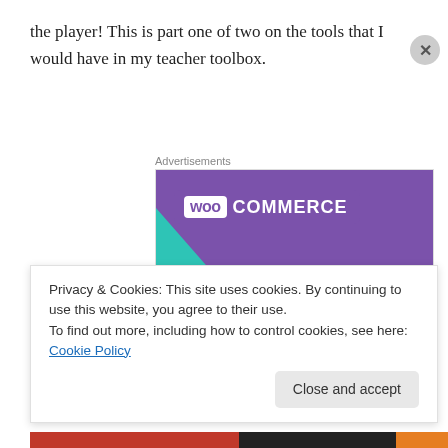the player! This is part one of two on the tools that I would have in my teacher toolbox.
Advertisements
[Figure (illustration): WooCommerce advertisement banner showing the WooCommerce logo on a purple background with green and blue decorative shapes, and the text 'How to start selling subscriptions online']
Privacy & Cookies: This site uses cookies. By continuing to use this website, you agree to their use.
To find out more, including how to control cookies, see here: Cookie Policy
Close and accept